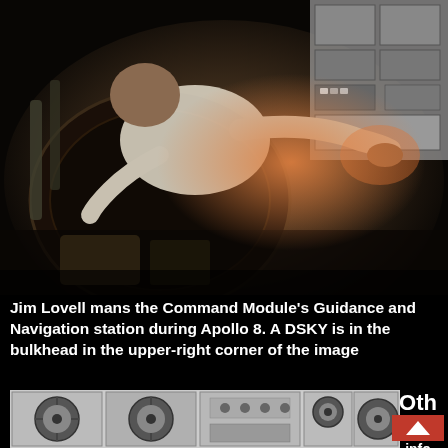[Figure (photo): Jim Lovell working at the Command Module's Guidance and Navigation station inside the spacecraft during Apollo 8. The image is taken with a fish-eye or wide-angle lens showing the cramped interior. A DSKY (Display and Keyboard) unit is visible in the bulkhead in the upper-right corner of the image.]
Jim Lovell mans the Command Module's Guidance and Navigation station during Apollo 8. A DSKY is in the bulkhead in the upper-right corner of the image
[Figure (photo): Black and white photograph of reel-to-reel tape recorder equipment, showing multiple tape drive units and control panels.]